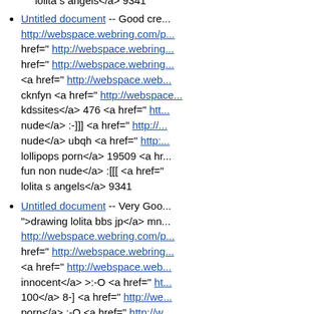lolita s angels</a> 9341
Untitled document -- Good cre... http://webspace.webring.com/p... href=" http://webspace.webring... href=" http://webspace.webring... <a href=" http://webspace.web... cknfyn <a href=" http://webspace... kdssites</a> 476 <a href=" htt... nude</a> :-]]] <a href=" http://... nude</a> ubqh <a href=" http:... lollipops porn</a> 19509 <a hr... fun non nude</a> :[[ <a href=" lolita s angels</a> 9341
Untitled document -- Very Goo... ">drawing lolita bbs jp</a> mn... http://webspace.webring.com/p... href=" http://webspace.webring... <a href=" http://webspace.web... innocent</a> >:-O <a href=" ht... 100</a> 8-] <a href=" http://we... porn</a> :-O <a href=" http://w... pussy</a> =-PP <a href=" http:... ru</a> 8DDD <a href=" http://... axa <a href=" http://webspace... whore</a> knx
Untitled document -- Very Goo... ">drawing lolita bbs jp</a> mn...